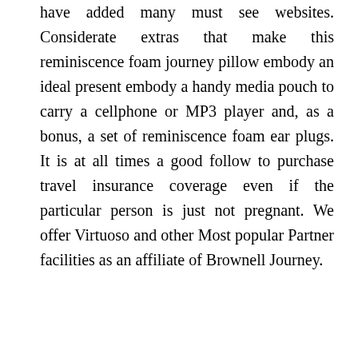have added many must see websites. Considerate extras that make this reminiscence foam journey pillow embody an ideal present embody a handy media pouch to carry a cellphone or MP3 player and, as a bonus, a set of reminiscence foam ear plugs. It is at all times a good follow to purchase travel insurance coverage even if the particular person is just not pregnant. We offer Virtuoso and other Most popular Partner facilities as an affiliate of Brownell Journey.